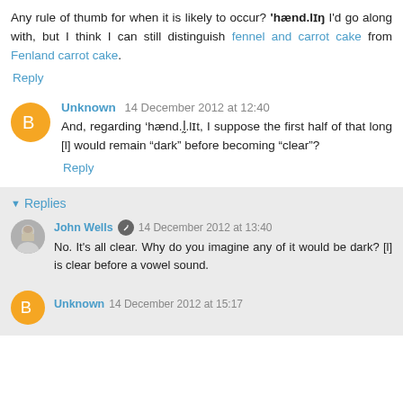Any rule of thumb for when it is likely to occur? 'hænd.lɪŋ I'd go along with, but I think I can still distinguish fennel and carrot cake from Fenland carrot cake.
Reply
Unknown 14 December 2012 at 12:40
And, regarding 'hænd.l̩.lɪt, I suppose the first half of that long [l] would remain "dark" before becoming "clear"?
Reply
Replies
John Wells 14 December 2012 at 13:40
No. It's all clear. Why do you imagine any of it would be dark? [l] is clear before a vowel sound.
Unknown 14 December 2012 at 15:17